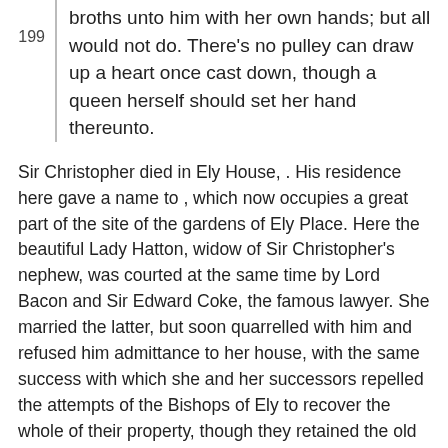broths unto him with her own hands; but all would not do. There's no pulley can draw up a heart once cast down, though a queen herself should set her hand thereunto.
Sir Christopher died in Ely House, . His residence here gave a name to , which now occupies a great part of the site of the gardens of Ely Place. Here the beautiful Lady Hatton, widow of Sir Christopher's nephew, was courted at the same time by Lord Bacon and Sir Edward Coke, the famous lawyer. She married the latter, but soon quarrelled with him and refused him admittance to her house, with the same success with which she and her successors repelled the attempts of the Bishops of Ely to recover the whole of their property, though they retained the old buildings beyond the gateway, where Laney, Bishop of Ely, died in -. It was not till the death of the last Lord Hatton in that the years' dispute was settled, when the bishops resigned Ely Place to the Crown for No. , , , which they